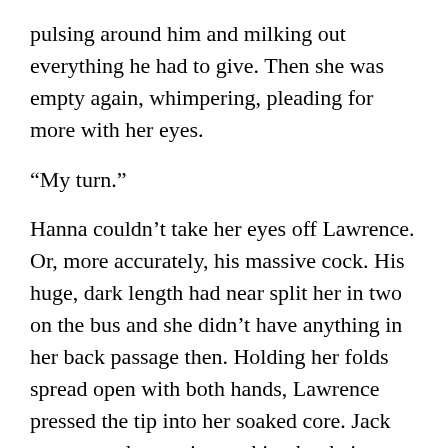pulsing around him and milking out everything he had to give. Then she was empty again, whimpering, pleading for more with her eyes.
“My turn.”
Hanna couldn’t take her eyes off Lawrence. Or, more accurately, his massive cock. His huge, dark length had near split her in two on the bus and she didn’t have anything in her back passage then. Holding her folds spread open with both hands, Lawrence pressed the tip into her soaked core. Jack sat next to her again, stroking her hair.
“I bet this one’s really going to hurt, little girl. Just breathe. I know you’ll love it. Maybe I’ll even let you come.”